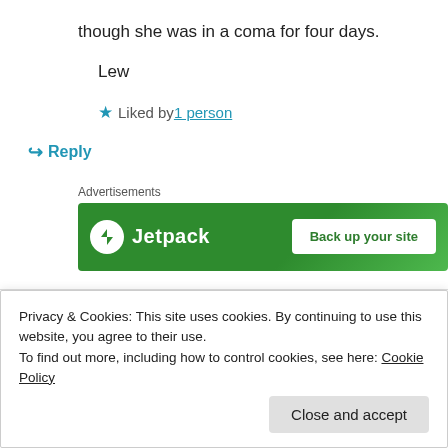though she was in a coma for four days.
Lew
★ Liked by 1 person
↳ Reply
[Figure (other): Jetpack advertisement banner with green background, Jetpack logo and 'Back up your site' button]
Lorraine Ambers on April 12, 2020 at 8:58 AM
Privacy & Cookies: This site uses cookies. By continuing to use this website, you agree to their use.
To find out more, including how to control cookies, see here: Cookie Policy